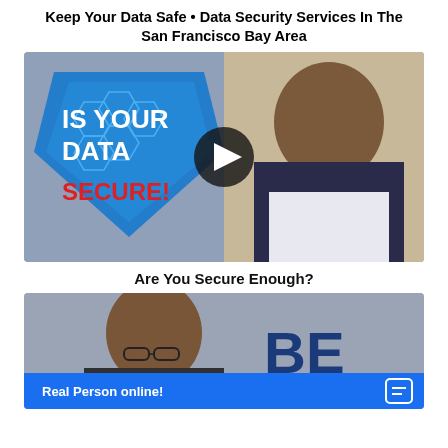Keep Your Data Safe • Data Security Services In The San Francisco Bay Area
[Figure (screenshot): Video thumbnail showing a blue security shield with text 'IS YOUR DATA SECURE?' and a man in a suit on the right side, with a play button overlay in the center.]
Are You Secure Enough?
[Figure (photo): Partial image of a man with glasses and text 'BE' visible in dark blue on the right side, with a 'Real Person online!' chat bar at the bottom in blue.]